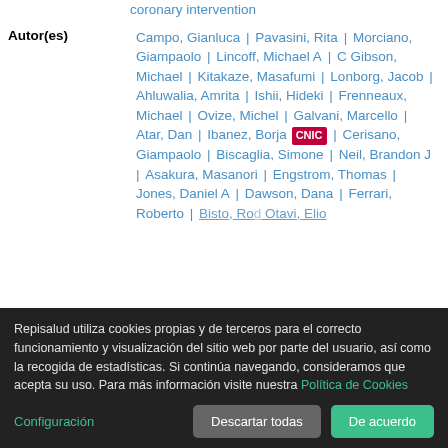coronary intervention
Autor(es)
Campo, Gianluca | Pavasini, Rita | Morciano, Giampaolo | Lincoff, Michael A | C Gibson, Michael | Kitakaze, Masafumi | Lonborg, Jacob | Ahluwalia, Amrita | Ishii, Hideki | Frenneaux, Michael | Ovize, Michel | Galvani, Marcello | Atar, Dan | Ibanez, Borja CNIC | Cerisano, Giampaolo | Biscaglia, Simone | Neil, Brandon J | Asakura, Masanori | Engstrom, Thomas | Jones, Daniel A | Dawson, Dana | Ferrari, Roberto | Bister, Prodol Otavio, Elio...
Repisalud utiliza cookies propias y de terceros para el correcto funcionamiento y visualización del sitio web por parte del usuario, así como la recogida de estadísticas. Si continúa navegando, consideramos que acepta su uso. Para más información visite nuestra Política de Cookies